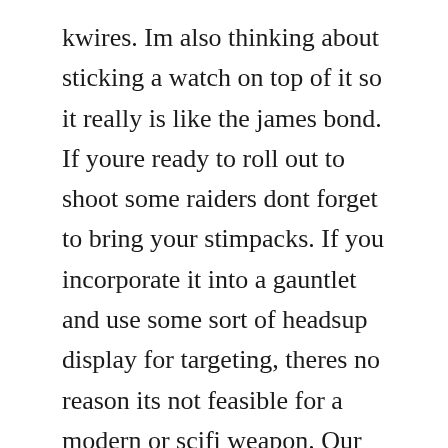kwires. Im also thinking about sticking a watch on top of it so it really is like the james bond. If youre ready to roll out to shoot some raiders dont forget to bring your stimpacks. If you incorporate it into a gauntlet and use some sort of headsup display for targeting, theres no reason its not feasible for a modern or scifi weapon. Our wide selection is eligible for free shipping and free returns.
The hit points of a metal wire at any given point is always 1. This wristwatch was inspired by various james bondbased video